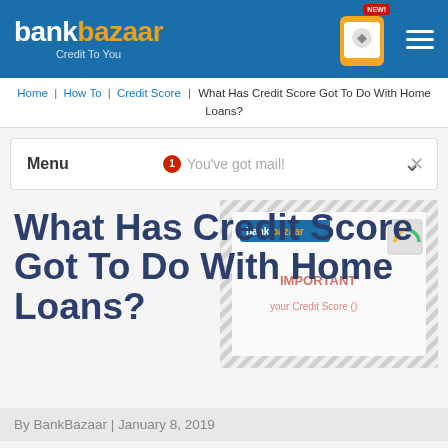bankbazaar Credit To You
Home | How To | Credit Score | What Has Credit Score Got To Do With Home Loans?
Menu
You've got mail!
[Figure (illustration): BankBazaar envelope mailer illustration showing a letter envelope with colorful credit score gauge graphic and diagonal striped border pattern]
What Has Credit Score Got To Do With Home Loans?
By BankBazaar | January 8, 2019
[Figure (infographic): Social media share buttons: Facebook (blue circle with f logo), LinkedIn (blue circle with in logo), Twitter (light blue circle with bird logo), WhatsApp (green circle with phone logo)]